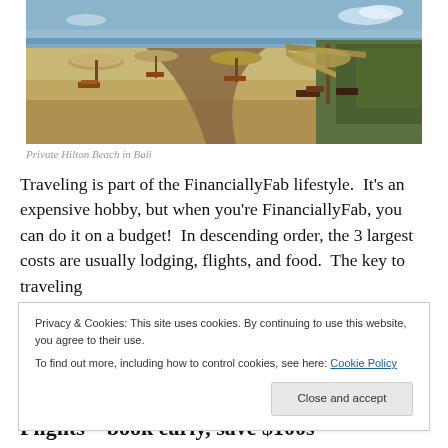[Figure (photo): Beach photo showing a private Hilton beach in Bali with thatched umbrellas, lounge chairs on sandy beach, a curved pathway, and ocean in the background with tropical vegetation on the right.]
Private Hilton Beach in Bali
Traveling is part of the FinanciallyFab lifestyle.  It's an expensive hobby, but when you're FinanciallyFab, you can do it on a budget!  In descending order, the 3 largest costs are usually lodging, flights, and food.  The key to traveling
Privacy & Cookies: This site uses cookies. By continuing to use this website, you agree to their use.
To find out more, including how to control cookies, see here: Cookie Policy
Flights – book early, save $100s